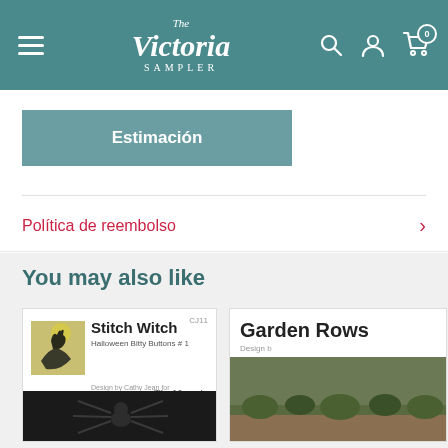The Victoria Sampler — navigation bar
Estimación
Política de reembolso
You may also like
[Figure (photo): Product card for 'Stitch Witch — Halloween Bitty Buttons #1' by Cathy Jean for The Victoria Sampler, showing a witch silhouette thumbnail and a large spider image below]
[Figure (photo): Partially visible product card for 'Garden Rows' with a garden photo]